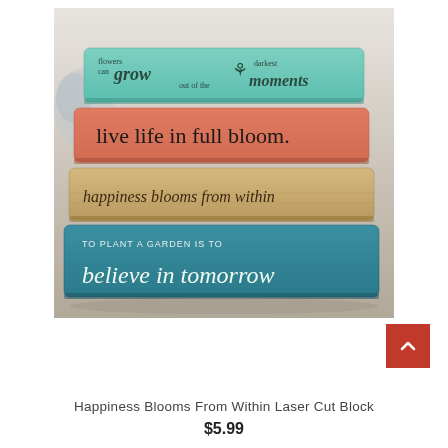[Figure (photo): Stack of four colorful wooden laser-cut sign blocks with inspirational garden-themed quotes. Top block is teal/mint with 'flowers can grow out of the darkest moments'. Second block is coral/salmon with 'live life in full bloom.' Third block is tan/wood-colored with 'happiness blooms from within'. Bottom block is teal/dark with 'TO PLANT A GARDEN IS TO believe in tomorrow'.]
Happiness Blooms From Within Laser Cut Block
$5.99